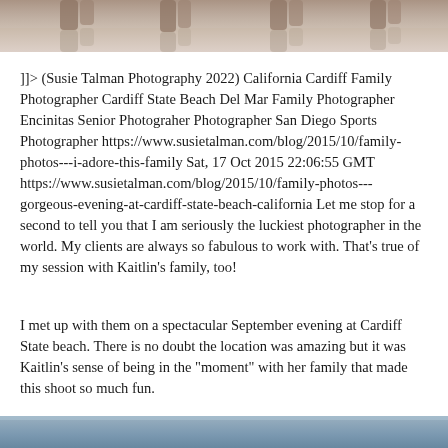[Figure (photo): Top portion of a photo showing legs/feet reflected in water at a beach, warm tones]
]]> (Susie Talman Photography 2022) California Cardiff Family Photographer Cardiff State Beach Del Mar Family Photographer Encinitas Senior Photograher Photographer San Diego Sports Photographer https://www.susietalman.com/blog/2015/10/family-photos---i-adore-this-family Sat, 17 Oct 2015 22:06:55 GMT https://www.susietalman.com/blog/2015/10/family-photos---gorgeous-evening-at-cardiff-state-beach-california Let me stop for a second to tell you that I am seriously the luckiest photographer in the world. My clients are always so fabulous to work with. That's true of my session with Kaitlin's family, too!
I met up with them on a spectacular September evening at Cardiff State beach. There is no doubt the location was amazing but it was Kaitlin's sense of being in the "moment" with her family that made this shoot so much fun.
[Figure (photo): Bottom portion of a photo showing water/beach scene with blue-grey tones]